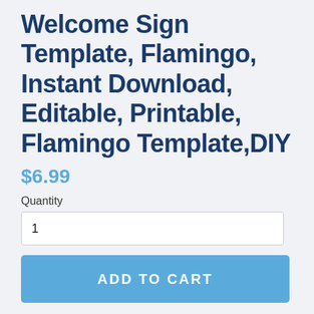Welcome Sign Template, Flamingo, Instant Download, Editable, Printable, Flamingo Template,DIY
$6.99
Quantity
1
ADD TO CART
YOU EDIT THIS ENTIRE ITEM YOURSELF!!!
Invitation is sized 16x20